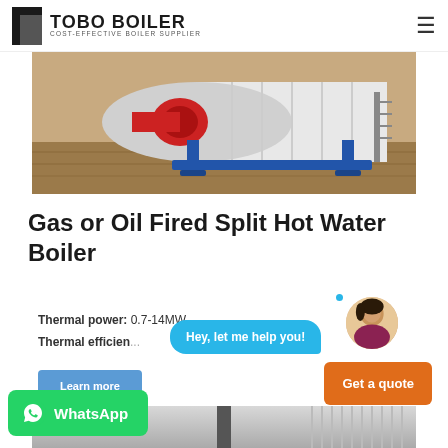TOBO BOILER — COST-EFFECTIVE BOILER SUPPLIER
[Figure (photo): Gas or oil fired split hot water boiler product photo — large white cylindrical tank on blue frame, red burner unit, on wooden floor background]
Gas or Oil Fired Split Hot Water Boiler
Thermal power: 0.7-14MW
Thermal efficiency: 94-98%
[Figure (screenshot): Chat widget overlay with chat bubble saying 'Hey, let me help you!' and female customer service avatar with blue dot indicator]
[Figure (screenshot): Learn more button (blue), Get a quote button (orange), WhatsApp button (green)]
[Figure (photo): Bottom partial photo of boiler installation environment]